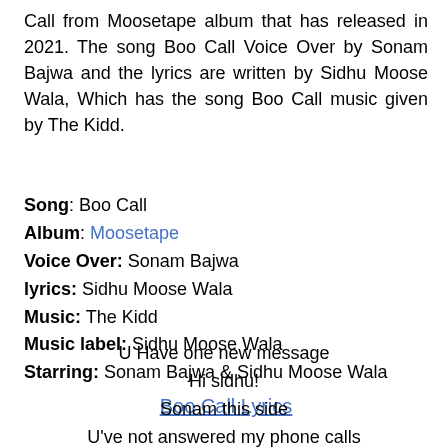Call from Moosetape album that has released in 2021. The song Boo Call Voice Over by Sonam Bajwa and the lyrics are written by Sidhu Moose Wala, Which has the song Boo Call music given by The Kidd.
Song: Boo Call
Album: Moosetape
Voice Over: Sonam Bajwa
lyrics: Sidhu Moose Wala
Music: The Kidd
Music label: Sidhu Moose Wala
Starring: Sonam Bajwa & Sidhu Moose Wala
Boo Call Lyrics
U Have one new message
Hi sidhu!
Sonam this side
U've not answered my phone calls
U've not read my messages